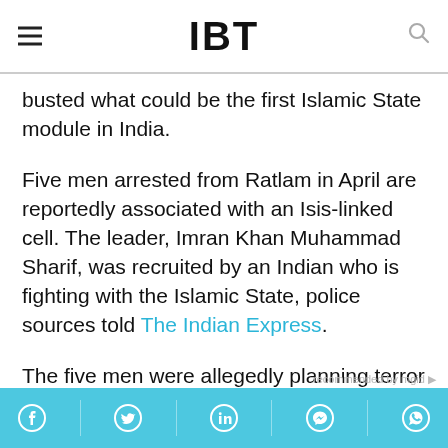IBT
busted what could be the first Islamic State module in India.
Five men arrested from Ratlam in April are reportedly associated with an Isis-linked cell. The leader, Imran Khan Muhammad Sharif, was recruited by an Indian who is fighting with the Islamic State, police sources told The Indian Express.
The five men were allegedly planning terror strikes in India.
Facebook, Twitter, LinkedIn, Messenger, WhatsApp social share bar